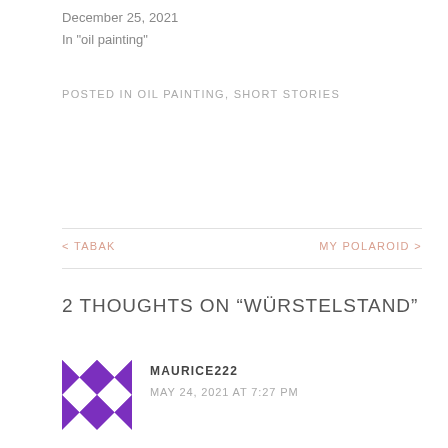December 25, 2021
In "oil painting"
POSTED IN OIL PAINTING, SHORT STORIES
< TABAK
MY POLAROID >
2 THOUGHTS ON “WÜRSTELSTAND”
MAURICE222
MAY 24, 2021 AT 7:27 PM
[Figure (illustration): Purple and white geometric quilt-pattern avatar icon for user Maurice222]